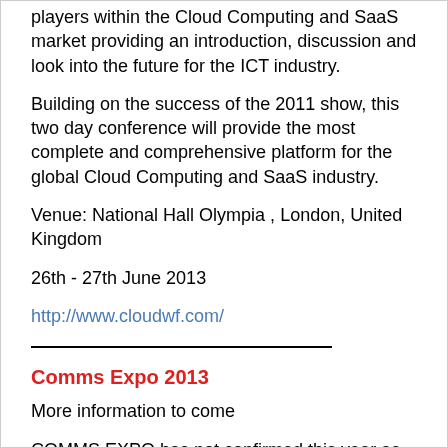players within the Cloud Computing and SaaS market providing an introduction, discussion and look into the future for the ICT industry.
Building on the success of the 2011 show, this two day conference will provide the most complete and comprehensive platform for the global Cloud Computing and SaaS industry.
Venue: National Hall Olympia , London, United Kingdom
26th - 27th June 2013
http://www.cloudwf.com/
Comms Expo 2013
More information to come
COMMS EXPO has not confirmed this year as yet.
The conference and exhibition for the network and data